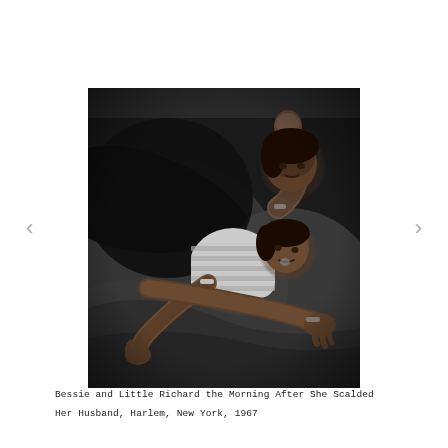[Figure (photo): Black and white photograph of a woman and a young child lying together on a blanket/bed. The woman is lying on her back with her arm raised, and the child is lying against her, wearing a striped shirt. The scene appears intimate and candid.]
Bessie and Little Richard the Morning After She Scalded Her Husband, Harlem, New York, 1967